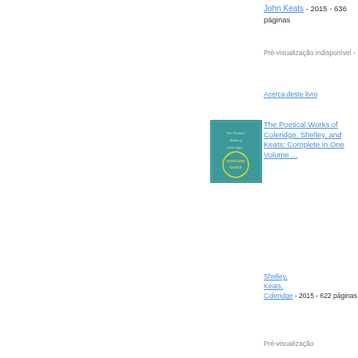John Keats - 2015 - 636 páginas
Pré-visualização indisponível -
Acerca deste livro
[Figure (photo): Book cover for The Poetical Works of Coleridge, Shelley, and Keats: Complete in One Volume - teal/blue cover with Scholars Choice badge]
The Poetical Works of Coleridge, Shelley, and Keats: Complete in One Volume ...
Shelley, Keats, Coleridge - 2015 - 622 páginas
Pré-visualização